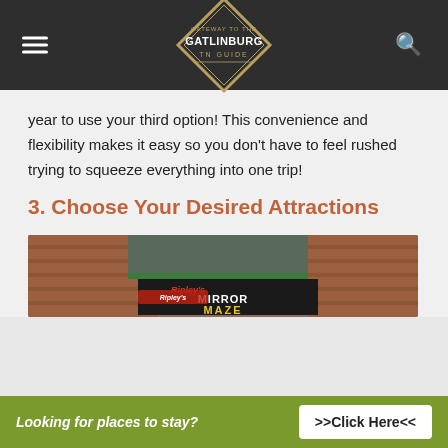Gatlinburg TN Guide
year to use your third option! This convenience and flexibility makes it easy so you don't have to feel rushed trying to squeeze everything into one trip!
3. Choose Your Desired Attractions
[Figure (photo): Photo of Ripley's Mirror Maze attraction signage with brick building facade]
Looking for places to stay? >>Click Here<<